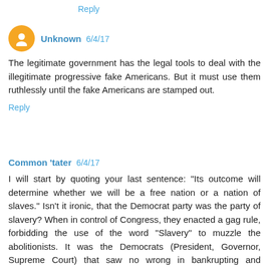Reply
Unknown 6/4/17
The legitimate government has the legal tools to deal with the illegitimate progressive fake Americans. But it must use them ruthlessly until the fake Americans are stamped out.
Reply
Common 'tater 6/4/17
I will start by quoting your last sentence: "Its outcome will determine whether we will be a free nation or a nation of slaves." Isn't it ironic, that the Democrat party was the party of slavery? When in control of Congress, they enacted a gag rule, forbidding the use of the word "Slavery" to muzzle the abolitionists. It was the Democrats (President, Governor, Supreme Court) that saw no wrong in bankrupting and incarcerating US citizens of Japanese ancestry. Of course, who came up with the Jim Crow laws?